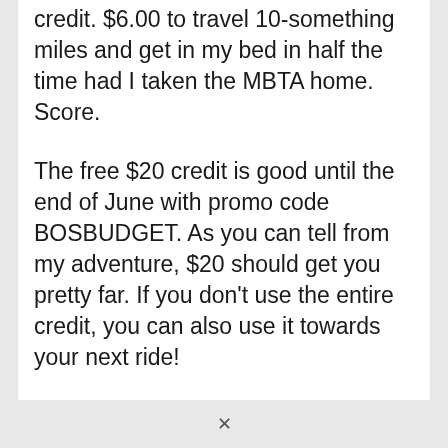credit. $6.00 to travel 10-something miles and get in my bed in half the time had I taken the MBTA home. Score.
The free $20 credit is good until the end of June with promo code BOSBUDGET. As you can tell from my adventure, $20 should get you pretty far. If you don't use the entire credit, you can also use it towards your next ride!
I was really impressed with Lyft. I was a little weary a first with setting up the